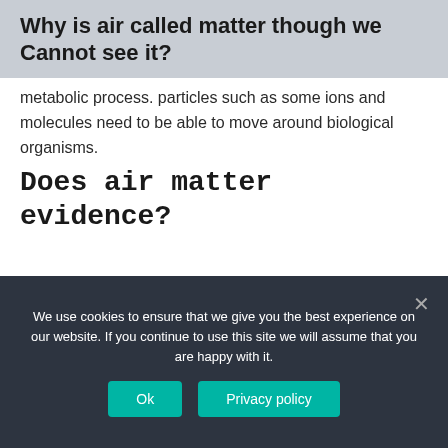Why is air called matter though we Cannot see it?
metabolic process. particles such as some ions and molecules need to be able to move around biological organisms.
Does air matter evidence?
Matter is anything that has mass and takes up space. So, in order to prove that air is matter, we need to prove that air has mass and takes up space. Although air has mass, a small volume of air, such as the air in the balloons,
We use cookies to ensure that we give you the best experience on our website. If you continue to use this site we will assume that you are happy with it.